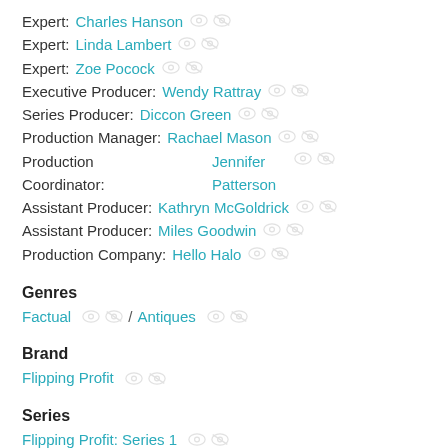Expert: Charles Hanson
Expert: Linda Lambert
Expert: Zoe Pocock
Executive Producer: Wendy Rattray
Series Producer: Diccon Green
Production Manager: Rachael Mason
Production Coordinator: Jennifer Patterson
Assistant Producer: Kathryn McGoldrick
Assistant Producer: Miles Goodwin
Production Company: Hello Halo
Genres
Factual / Antiques
Brand
Flipping Profit
Series
Flipping Profit: Series 1